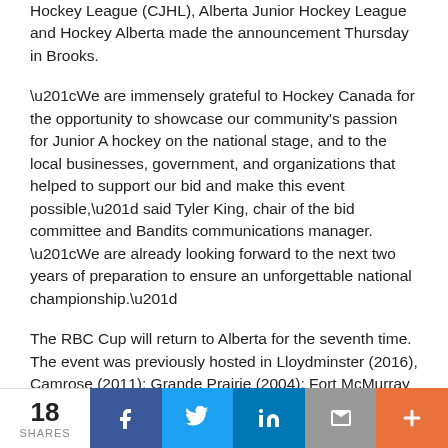Hockey League (CJHL), Alberta Junior Hockey League and Hockey Alberta made the announcement Thursday in Brooks.
“We are immensely grateful to Hockey Canada for the opportunity to showcase our community's passion for Junior A hockey on the national stage, and to the local businesses, government, and organizations that helped to support our bid and make this event possible,” said Tyler King, chair of the bid committee and Bandits communications manager. “We are already looking forward to the next two years of preparation to ensure an unforgettable national championship.”
The RBC Cup will return to Alberta for the seventh time. The event was previously hosted in Lloydminster (2016), Camrose (2011); Grande Prairie (2004); Fort McMurray (2000); Olds (1994); and Edmonton (1975).
“Hockey Alberta is excited to have this prestigious
18 SHARES  f  in  ✉  +